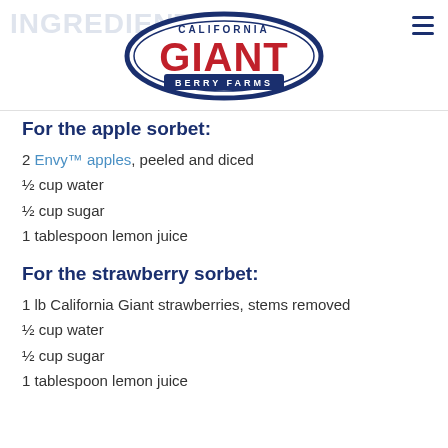[Figure (logo): California Giant Berry Farms logo — blue oval border, red GIANT text, CALIFORNIA above, BERRY FARMS below]
For the apple sorbet:
2 Envy™ apples, peeled and diced
½ cup water
½ cup sugar
1 tablespoon lemon juice
For the strawberry sorbet:
1 lb California Giant strawberries, stems removed
½ cup water
½ cup sugar
1 tablespoon lemon juice